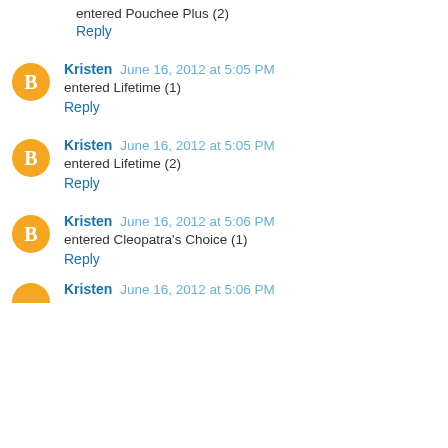entered Pouchee Plus (2)
Reply
Kristen  June 16, 2012 at 5:05 PM
entered Lifetime (1)
Reply
Kristen  June 16, 2012 at 5:05 PM
entered Lifetime (2)
Reply
Kristen  June 16, 2012 at 5:06 PM
entered Cleopatra's Choice (1)
Reply
Kristen  June 16, 2012 at 5:06 PM